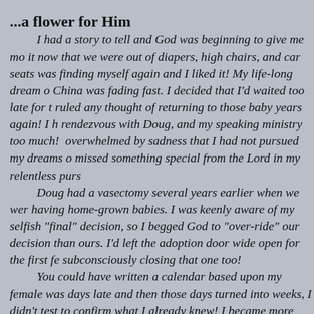...a flower for Him
I had a story to tell and God was beginning to give me mo it now that we were out of diapers, high chairs, and car seats was finding myself again and I liked it!  My life-long dream o China was fading fast.  I decided that I'd waited too late for t ruled any thought of returning to those baby years again!  I h rendezvous with Doug, and my speaking ministry too much! overwhelmed by sadness that I had not pursued my dreams o missed something special from the Lord in my relentless purs
Doug had a vasectomy several years earlier when we wer having home-grown babies.  I was keenly aware of my selfish "final" decision, so I begged God to "over-ride" our decision than ours. I'd left the adoption door wide open for the first fe subconsciously closing that one too!
You could have written a calendar based upon my female was days late and then those days turned into weeks, I didn't test to confirm what I already knew!  I became more certain